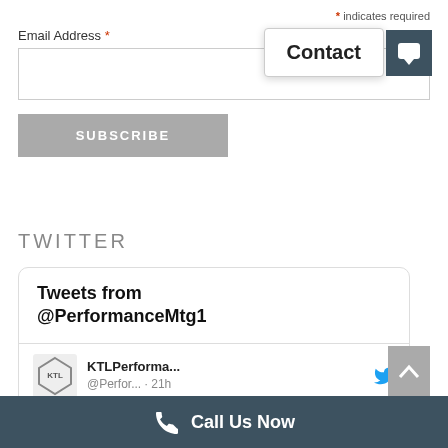* indicates required
Email Address *
SUBSCRIBE
Contact
TWITTER
Tweets from @PerformanceMtg1
KTLPerforma... @Perfor... · 21h
Your Keys to Success:
Call Us Now